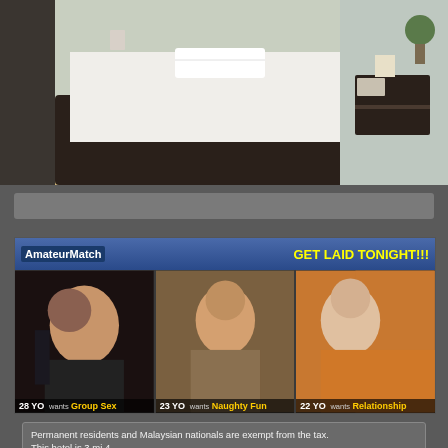[Figure (photo): Hotel room interior with single bed with white linens and towels, dark wood bed frame, nightstand, and wood-look floor, wide-angle view]
[Figure (screenshot): AmateurMatch advertisement banner with header 'GET LAID TONIGHT!!!' and three photos of women with captions: '28 YO wants Group Sex', '23 YO wants Naughty Fun', '22 YO wants Relationship']
Permanent residents and Malaysian nationals are exempt from the tax.
This hotel is 3 mi 4.